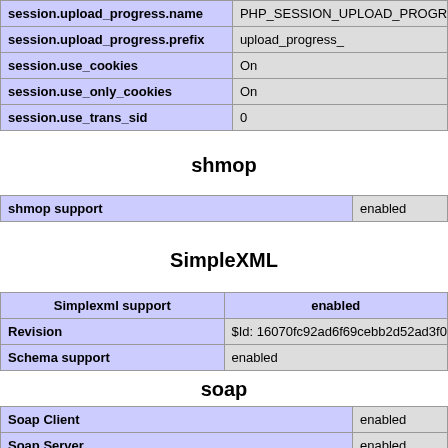| session.upload_progress.name | PHP_SESSION_UPLOAD_PROGRESS | P |
| session.upload_progress.prefix | upload_progress_ | u |
| session.use_cookies | On | O |
| session.use_only_cookies | On | O |
| session.use_trans_sid | 0 | 0 |
shmop
| shmop support | enabled |
SimpleXML
| Simplexml support | enabled |
| --- | --- |
| Revision | $Id: 16070fc92ad6f69cebb2d52ad3f02794f833ce3 |
| Schema support | enabled |
soap
| Soap Client | enabled |
| Soap Server | enabled |